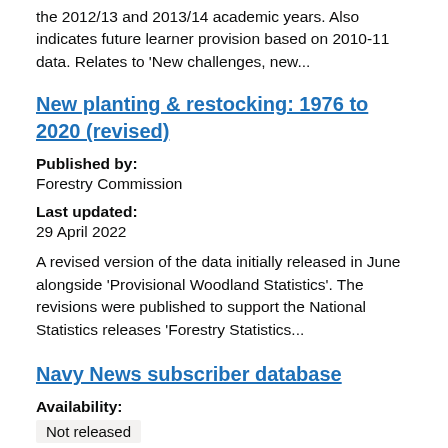the 2012/13 and 2013/14 academic years. Also indicates future learner provision based on 2010-11 data. Relates to 'New challenges, new...
New planting & restocking: 1976 to 2020 (revised)
Published by:
Forestry Commission
Last updated:
29 April 2022
A revised version of the data initially released in June alongside 'Provisional Woodland Statistics'. The revisions were published to support the National Statistics releases 'Forestry Statistics...
Navy News subscriber database
Availability:
Not released